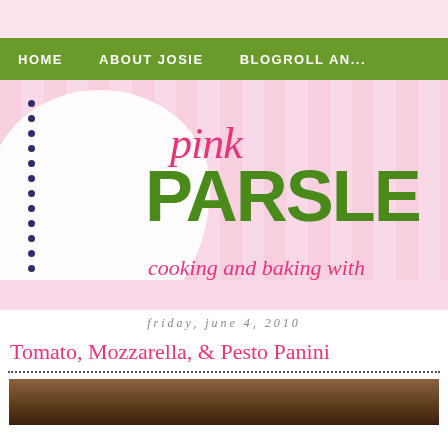[Figure (screenshot): Pink Parsley food blog header screenshot showing navigation bar with HOME, ABOUT JOSIE, BLOGROLL AND links on green background, then the blog logo with 'pink' in pink cursive and 'PARSLEY' in large green bold text, with tagline 'cooking and baking with' in pink cursive, on a pink striped background with scalloped white shape and dotted border decoration.]
friday, june 4, 2010
Tomato, Mozzarella, & Pesto Panini
[Figure (photo): Partial photo of food item, bottom of page, dark brown tones]